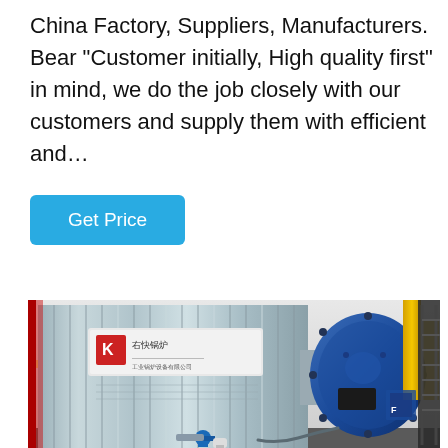China Factory, Suppliers, Manufacturers. Bear "Customer initially, High quality first" in mind, we do the job closely with our customers and supply them with efficient and…
Get Price
[Figure (photo): Industrial boiler or steam generator unit at a factory site. A large corrugated metal container/tank with a Chinese company logo (red K) and Chinese text signage on the left. A large blue circular burner/motor unit is mounted to the right side of the tank. Yellow pipes and black metal stairs/platform structure are visible in the background right. A blue valve and white pipe fitting are visible at the bottom.]